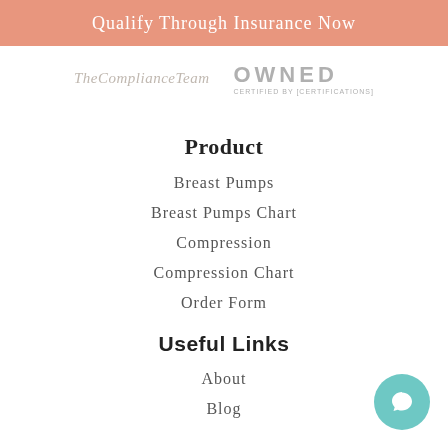Qualify Through Insurance Now
[Figure (logo): TheComplianceTeam logo and OWNED certified by [text] logos side by side]
Product
Breast Pumps
Breast Pumps Chart
Compression
Compression Chart
Order Form
Useful Links
About
Blog